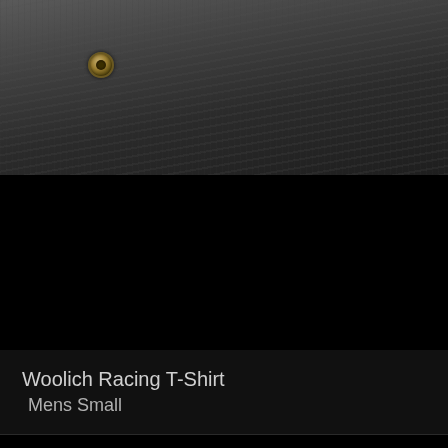[Figure (photo): Close-up photo of dark gray denim jeans with a brass/gold colored eyelet/rivet visible]
Woolich Racing T-Shirt
  Mens Small
[Figure (photo): Black t-shirt displayed on gray background, showing collar/neckline area at top, with lower portion showing dark graphic on shirt, outlined by a red border box around the lower section]
I acknowledge and